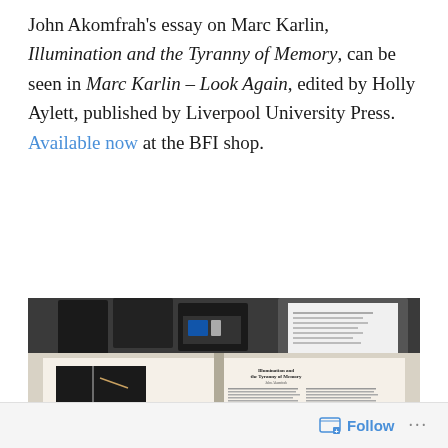John Akomfrah's essay on Marc Karlin, Illumination and the Tyranny of Memory, can be seen in Marc Karlin – Look Again, edited by Holly Aylett, published by Liverpool University Press. Available now at the BFI shop.
[Figure (photo): A photograph of an open book showing the essay 'Illumination and the Tyranny of Memory' with text columns and a black and white image, alongside several black VHS tape cases in the background.]
Follow ···